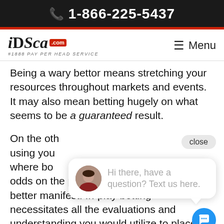📞 1-866-225-5437
[Figure (logo): iDSca.com #1 Pay Per Head Service logo with hamburger menu icon]
Being a wary bettor means stretching your resources throughout markets and events. It may also mean betting hugely on what seems to be a guaranteed result.
On the oth... using you... where bo... odds on the potential you believe will better manifest. In-play betting necessitates all the evaluations and understanding you would utilize to place